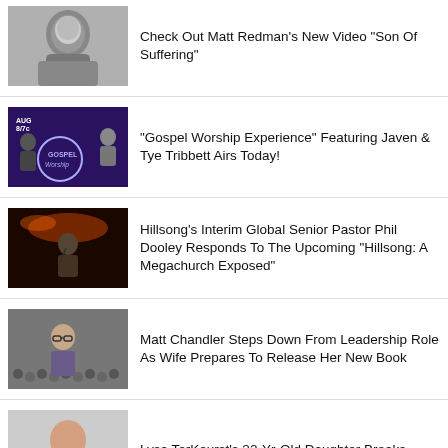Check Out Matt Redman's New Video "Son Of Suffering"
"Gospel Worship Experience" Featuring Javen & Tye Tribbett Airs Today!
Hillsong's Interim Global Senior Pastor Phil Dooley Responds To The Upcoming "Hillsong: A Megachurch Exposed"
Matt Chandler Steps Down From Leadership Role As Wife Prepares To Release Her New Book
Lysa TerKeurst's 22-Yr-Old Daughter Breaks